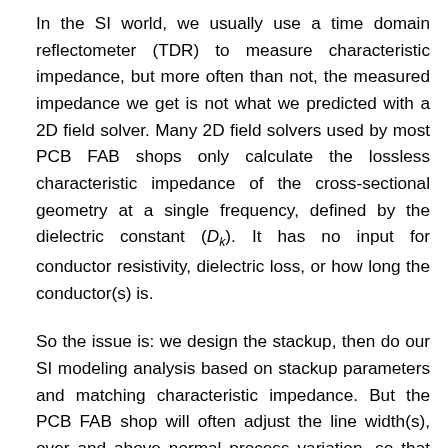In the SI world, we usually use a time domain reflectometer (TDR) to measure characteristic impedance, but more often than not, the measured impedance we get is not what we predicted with a 2D field solver. Many 2D field solvers used by most PCB FAB shops only calculate the lossless characteristic impedance of the cross-sectional geometry at a single frequency, defined by the dielectric constant (Dk). It has no input for conductor resistivity, dielectric loss, or how long the conductor(s) is.
So the issue is: we design the stackup, then do our SI modeling analysis based on stackup parameters and matching characteristic impedance. But the PCB FAB shop will often adjust the line width(s), over and above normal process variation, so that when measured, the impedance will fall within the specified tolerance, usually +/-10 percent.